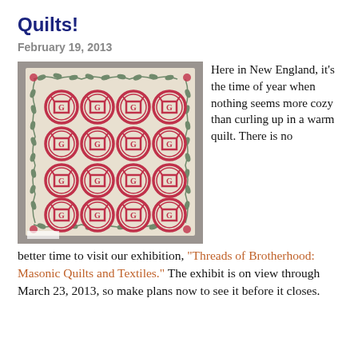Quilts!
February 19, 2013
[Figure (photo): A Masonic quilt displayed on a gray wall, featuring a 4x4 grid of red Masonic square-and-compass symbols inside circles, with a green leaf/vine border around the edges on a cream background.]
Here in New England, it’s the time of year when nothing seems more cozy than curling up in a warm quilt. There is no better time to visit our exhibition, “Threads of Brotherhood: Masonic Quilts and Textiles.” The exhibit is on view through March 23, 2013, so make plans now to see it before it closes.